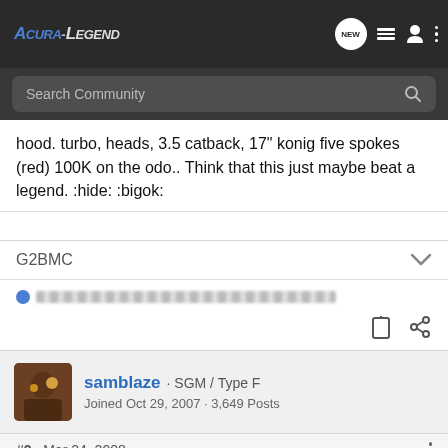Acura-Legend — navigation bar with search
hood. turbo, heads, 3.5 catback, 17" konig five spokes (red) 100K on the odo.. Think that this just maybe beat a legend. :hide: :bigok:
G2BMC
samblaze · SGM / Type F
Joined Oct 29, 2007 · 3,649 Posts
#2 · Mar 24, 2008
Wait so your Mom won't buy you Legend but will buy you that